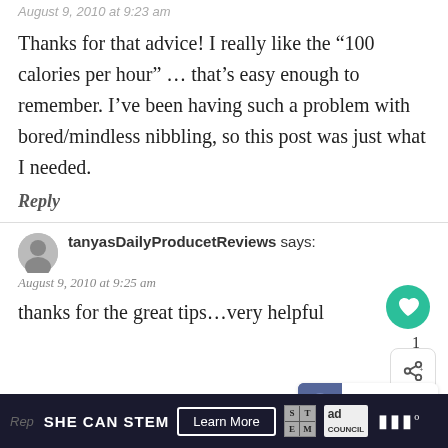August 9, 2010 at 9:23 am
Thanks for that advice! I really like the “100 calories per hour” … that’s easy enough to remember. I’ve been having such a problem with bored/mindless nibbling, so this post was just what I needed.
Reply
tanyasDailyProducetReviews says:
August 9, 2010 at 9:25 am
thanks for the great tips…very helpful
[Figure (screenshot): WHAT'S NEXT arrow I Love NYC thumbnail widget]
[Figure (screenshot): SHE CAN STEM advertisement bar with Learn More button, STEM logo, ad council logo]